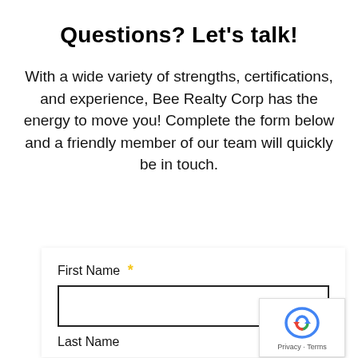Questions? Let's talk!
With a wide variety of strengths, certifications, and experience, Bee Realty Corp has the energy to move you! Complete the form below and a friendly member of our team will quickly be in touch.
First Name *
Last Name